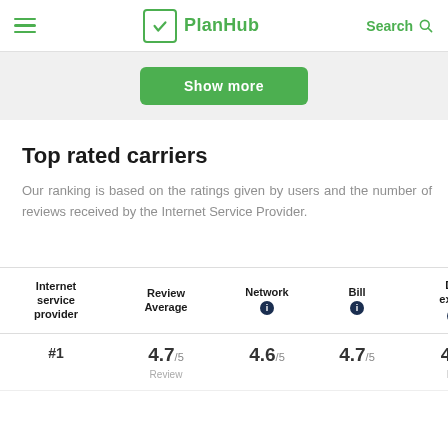PlanHub — Search
[Figure (screenshot): Show more button in a light gray section]
Top rated carriers
Our ranking is based on the ratings given by users and the number of reviews received by the Internet Service Provider.
| Internet service provider | Review Average | Network | Bill | Dig exper |
| --- | --- | --- | --- | --- |
| #1 | 4.7/5 Review | 4.6/5 | 4.7/5 | 4.7 Dis |